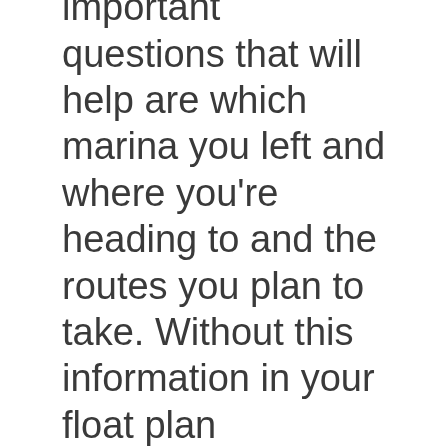The most important questions that will help are which marina you left and where you're heading to and the routes you plan to take. Without this information in your float plan